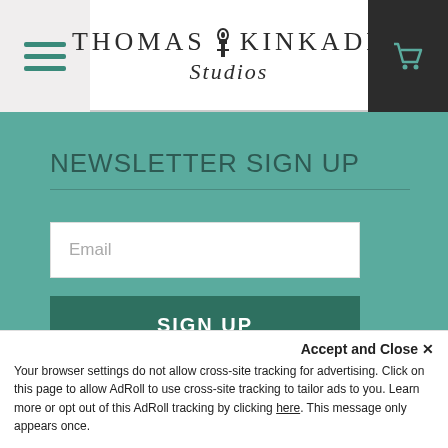[Figure (screenshot): Thomas Kinkade Studios website header with hamburger menu, logo, and cart icon]
NEWSLETTER SIGN UP
Email
SIGN UP
ABOUT US
Accept and Close ✕
Your browser settings do not allow cross-site tracking for advertising. Click on this page to allow AdRoll to use cross-site tracking to tailor ads to you. Learn more or opt out of this AdRoll tracking by clicking here. This message only appears once.